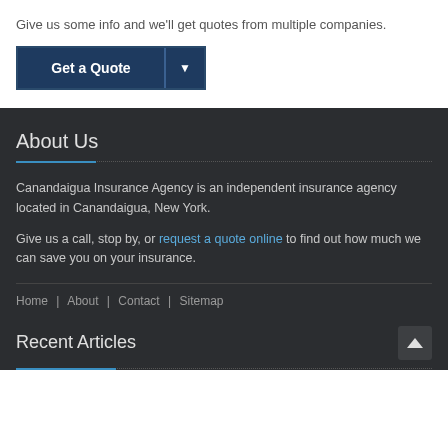Give us some info and we'll get quotes from multiple companies.
[Figure (other): Get a Quote button with dropdown arrow]
About Us
Canandaigua Insurance Agency is an independent insurance agency located in Canandaigua, New York.
Give us a call, stop by, or request a quote online to find out how much we can save you on your insurance.
Home | About | Contact | Sitemap
Recent Articles